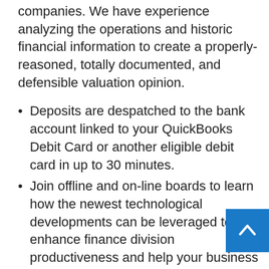companies. We have experience analyzing the operations and historic financial information to create a properly-reasoned, totally documented, and defensible valuation opinion.
Deposits are despatched to the bank account linked to your QuickBooks Debit Card or another eligible debit card in up to 30 minutes.
Join offline and on-line boards to learn how the newest technological developments can be leveraged to enhance finance division productiveness and help your business counterparts.
Sadly, most businessmen are too engrossed in computing positive aspects and losses to concentrate to vital terms that can help them manage their business higher and attract more clients.